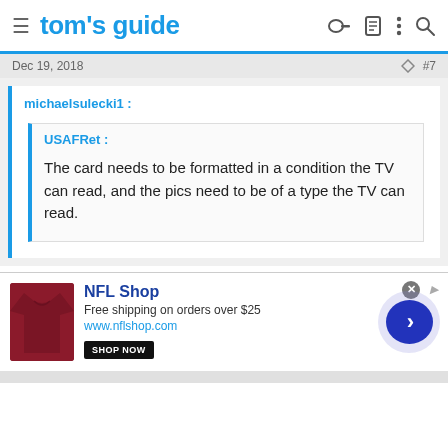tom's guide
Dec 19, 2018   #7
michaelsulecki1 :
USAFRet :
The card needs to be formatted in a condition the TV can read, and the pics need to be of a type the TV can read.
[Figure (infographic): NFL Shop advertisement banner with logo, shirt image, shop now button, and arrow navigation]
NFL Shop
Free shipping on orders over $25
www.nflshop.com
SHOP NOW